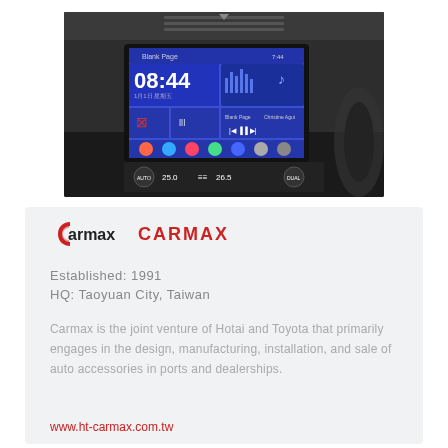[Figure (photo): Car dashboard interior showing a touchscreen infotainment system displaying time 08:44, music app, and various icons, with climate control buttons below.]
CARMAX
Established: 1991
HQ: Taoyuan City, Taiwan
Carmax is the joint venture of Hotai and Toyota that primarily engages in the design, manufacturing, installation, and sale of auto accessories in ports and dealerships.
www.ht-carmax.com.tw